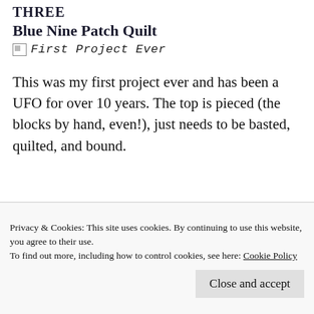THREE
Blue Nine Patch Quilt
[Figure (photo): Broken image icon with caption text 'First Project Ever']
This was my first project ever and has been a UFO for over 10 years. The top is pieced (the blocks by hand, even!), just needs to be basted, quilted, and bound.
[Figure (screenshot): Advertisement banner with dark blue panel showing a 'Get a quote now' button, and a pink/peach panel with baby photos]
Privacy & Cookies: This site uses cookies. By continuing to use this website, you agree to their use.
To find out more, including how to control cookies, see here: Cookie Policy
Close and accept